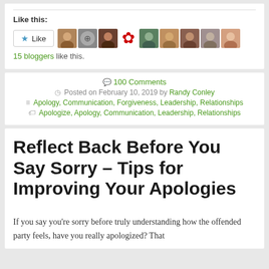Like this:
[Figure (other): Like button with star icon and avatar images of 15 bloggers]
15 bloggers like this.
💬 100 Comments
Posted on February 10, 2019 by Randy Conley
Apology, Communication, Forgiveness, Leadership, Relationships
Apologize, Apology, Communication, Leadership, Relationships
Reflect Back Before You Say Sorry – Tips for Improving Your Apologies
If you say you're sorry before truly understanding how the offended party feels, have you really apologized? That